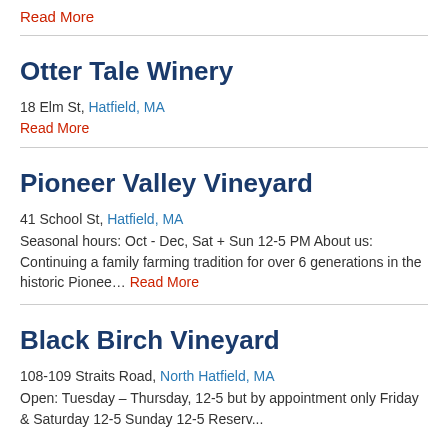Read More
Otter Tale Winery
18 Elm St, Hatfield, MA
Read More
Pioneer Valley Vineyard
41 School St, Hatfield, MA
Seasonal hours:  Oct - Dec, Sat + Sun 12-5 PM About us: Continuing a family farming tradition for over 6 generations in the historic Pionee… Read More
Black Birch Vineyard
108-109 Straits Road, North Hatfield, MA
Open:  Tuesday – Thursday, 12-5 but by appointment only Friday & Saturday 12-5 Sunday 12-5 Reserv...